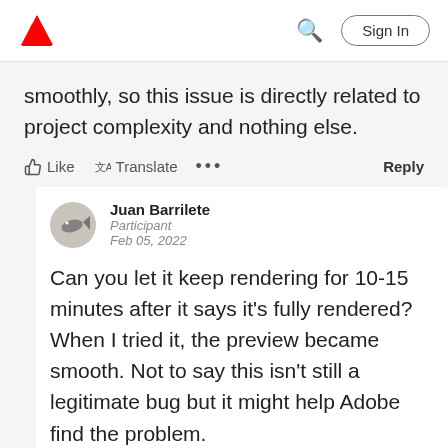Adobe | Sign In
smoothly, so this issue is directly related to project complexity and nothing else.
Like  Translate  ...  Reply
Juan Barrilete
Participant
Feb 05, 2022
Can you let it keep rendering for 10-15 minutes after it says it's fully rendered? When I tried it, the preview became smooth. Not to say this isn't still a legitimate bug but it might help Adobe find the problem.